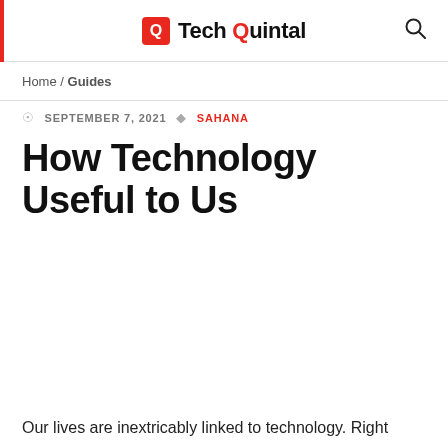Tech Quintal
Home / Guides
SEPTEMBER 7, 2021  SAHANA
How Technology Useful to Us
Our lives are inextricably linked to technology. Right